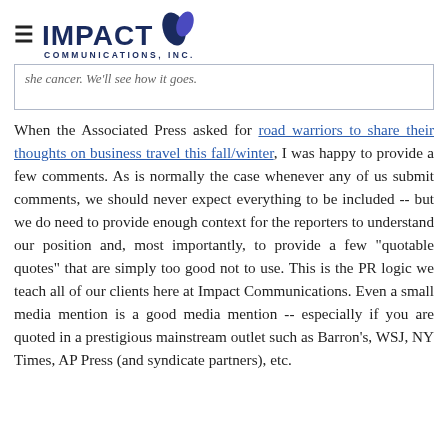IMPACT COMMUNICATIONS, INC.
she cancer. We'll see how it goes.
When the Associated Press asked for road warriors to share their thoughts on business travel this fall/winter, I was happy to provide a few comments. As is normally the case whenever any of us submit comments, we should never expect everything to be included -- but we do need to provide enough context for the reporters to understand our position and, most importantly, to provide a few "quotable quotes" that are simply too good not to use. This is the PR logic we teach all of our clients here at Impact Communications. Even a small media mention is a good media mention -- especially if you are quoted in a prestigious mainstream outlet such as Barron's, WSJ, NY Times, AP Press (and syndicate partners), etc.